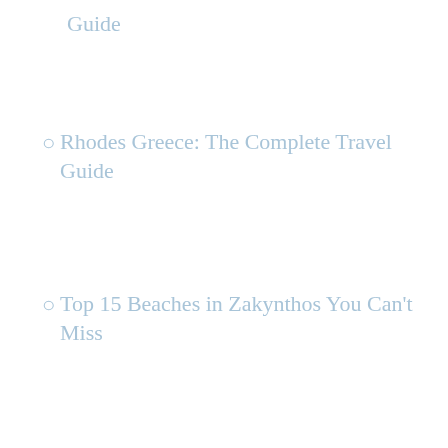Guide
Rhodes Greece: The Complete Travel Guide
Top 15 Beaches in Zakynthos You Can't Miss